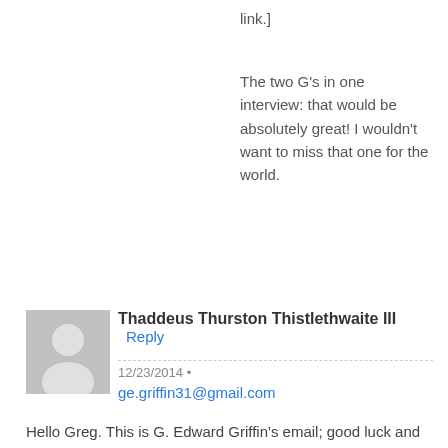link.]
The two G's in one interview: that would be absolutely great! I wouldn't want to miss that one for the world.
Thaddeus Thurston Thistlethwaite III
12/23/2014
ge.griffin31@gmail.com
Hello Greg. This is G. Edward Griffin's email; good luck and Merry Christmas. Thaddeus
Greg Hunter
I have sent him an